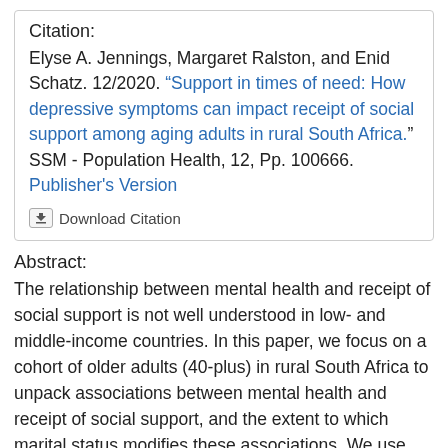Citation:
Elyse A. Jennings, Margaret Ralston, and Enid Schatz. 12/2020. "Support in times of need: How depressive symptoms can impact receipt of social support among aging adults in rural South Africa." SSM - Population Health, 12, Pp. 100666. Publisher's Version
Download Citation
Abstract:
The relationship between mental health and receipt of social support is not well understood in low- and middle-income countries. In this paper, we focus on a cohort of older adults (40-plus) in rural South Africa to unpack associations between mental health and receipt of social support, and the extent to which marital status modifies these associations. We use baseline data from a population-based study, Health and Aging in Africa: A Longitudinal Study of an INDEPTH Community in South Africa (HAALSI), conducted between 2014 and 2015. Our results suggest that men and women who report depressive symptoms are less likely to receive social support; women are